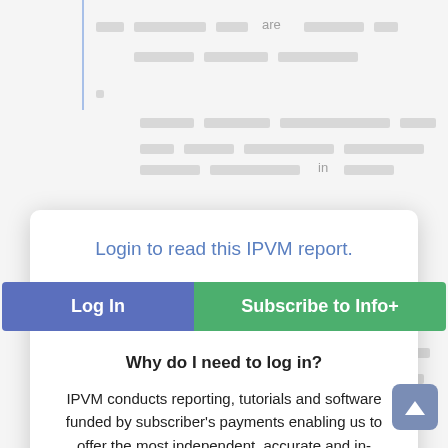[Figure (screenshot): Background blurred document text with a login modal overlay]
Login to read this IPVM report.
Log In
Subscribe to Info+
Why do I need to log in?
IPVM conducts reporting, tutorials and software funded by subscriber's payments enabling us to offer the most independent, accurate and in-depth information.